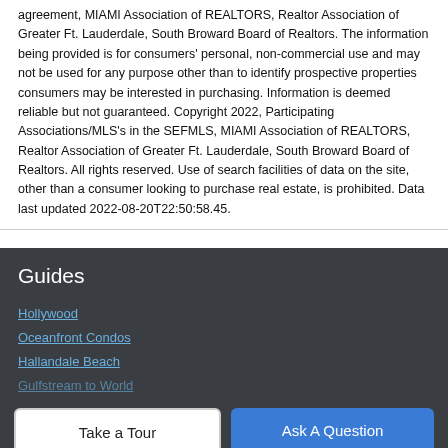agreement, MIAMI Association of REALTORS, Realtor Association of Greater Ft. Lauderdale, South Broward Board of Realtors. The information being provided is for consumers' personal, non-commercial use and may not be used for any purpose other than to identify prospective properties consumers may be interested in purchasing. Information is deemed reliable but not guaranteed. Copyright 2022, Participating Associations/MLS's in the SEFMLS, MIAMI Association of REALTORS, Realtor Association of Greater Ft. Lauderdale, South Broward Board of Realtors. All rights reserved. Use of search facilities of data on the site, other than a consumer looking to purchase real estate, is prohibited. Data last updated 2022-08-20T22:50:58.45.
Guides
Hollywood
Oceanfront Condos
Hallandale Beach
Gulfstream to World
Take a Tour
Ask A Question